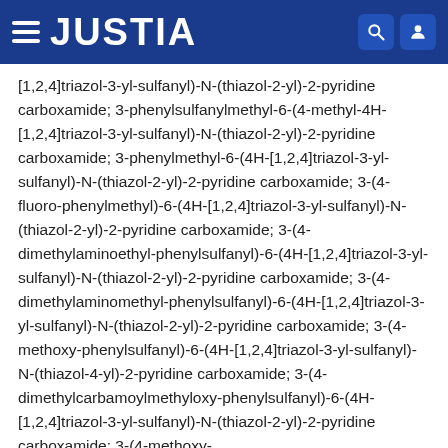JUSTIA
[1,2,4]triazol-3-yl-sulfanyl)-N-(thiazol-2-yl)-2-pyridine carboxamide; 3-phenylsulfanylmethyl-6-(4-methyl-4H-[1,2,4]triazol-3-yl-sulfanyl)-N-(thiazol-2-yl)-2-pyridine carboxamide; 3-phenylmethyl-6-(4H-[1,2,4]triazol-3-yl-sulfanyl)-N-(thiazol-2-yl)-2-pyridine carboxamide; 3-(4-fluoro-phenylmethyl)-6-(4H-[1,2,4]triazol-3-yl-sulfanyl)-N-(thiazol-2-yl)-2-pyridine carboxamide; 3-(4-dimethylaminoethyl-phenylsulfanyl)-6-(4H-[1,2,4]triazol-3-yl-sulfanyl)-N-(thiazol-2-yl)-2-pyridine carboxamide; 3-(4-dimethylaminomethyl-phenylsulfanyl)-6-(4H-[1,2,4]triazol-3-yl-sulfanyl)-N-(thiazol-2-yl)-2-pyridine carboxamide; 3-(4-methoxy-phenylsulfanyl)-6-(4H-[1,2,4]triazol-3-yl-sulfanyl)-N-(thiazol-4-yl)-2-pyridine carboxamide; 3-(4-dimethylcarbamoylmethyloxy-phenylsulfanyl)-6-(4H-[1,2,4]triazol-3-yl-sulfanyl)-N-(thiazol-2-yl)-2-pyridine carboxamide; 3-(4-methoxy-